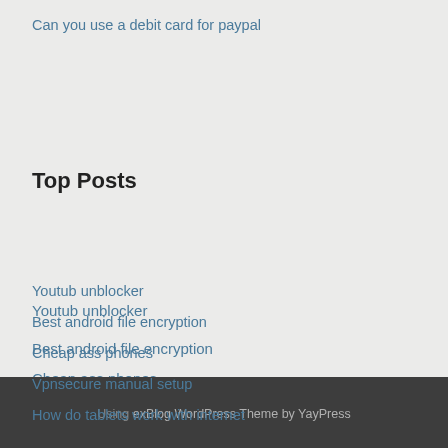Can you use a debit card for paypal
Top Posts
Youtub unblocker
Best android file encryption
Cheap ass phones
Vpnsecure manual setup
How do tablets work with internet
Using exBlog WordPress Theme by YayPress